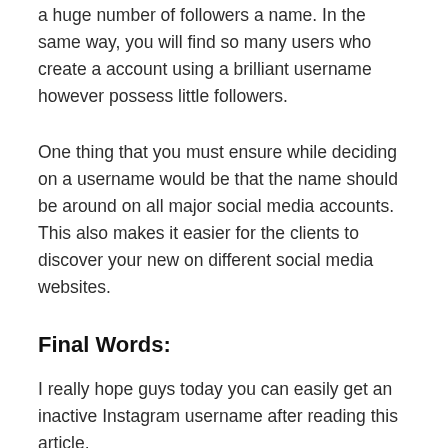a huge number of followers a name. In the same way, you will find so many users who create a account using a brilliant username however possess little followers.
One thing that you must ensure while deciding on a username would be that the name should be around on all major social media accounts. This also makes it easier for the clients to discover your new on different social media websites.
Final Words:
I really hope guys today you can easily get an inactive Instagram username after reading this article.